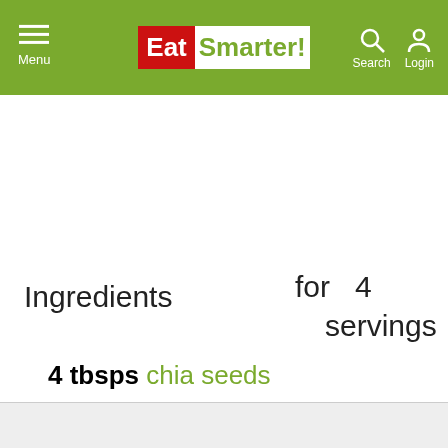Menu | EatSmarter! | Search | Login
Ingredients
for 4 servings
4 tbsps chia seeds